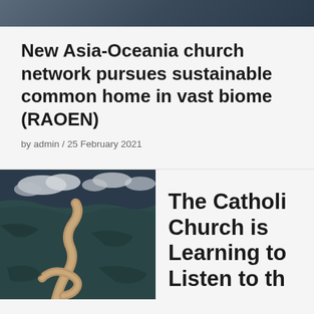[Figure (photo): Aerial or landscape photo of dark water/ocean scene, partially cropped at top]
New Asia-Oceania church network pursues sustainable common home in vast biome (RAOEN)
by admin / 25 February 2021
[Figure (photo): Aerial photograph of a winding river through a landscape, viewed from above, showing river meanders with clouds above]
The Catholic Church is Learning to Listen to th